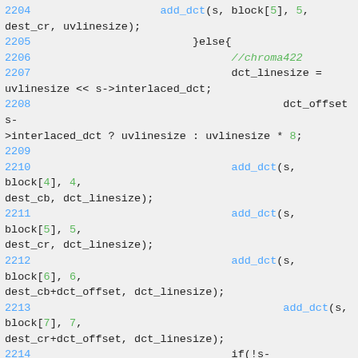2204    add_dct(s, block[5], 5, dest_cr, uvlinesize);
2205                    }else{
2206                            //chroma422
2207                            dct_linesize = uvlinesize << s->interlaced_dct;
2208                                    dct_offset    = s->interlaced_dct ? uvlinesize : uvlinesize * 8;
2209
2210                            add_dct(s, block[4], 4, dest_cb, dct_linesize);
2211                            add_dct(s, block[5], 5, dest_cr, dct_linesize);
2212                            add_dct(s, block[6], 6, dest_cb+dct_offset, dct_linesize);
2213                                    add_dct(s, block[7], 7, dest_cr+dct_offset, dct_linesize);
2214                            if(!s->chroma_x_shift){//Chroma444
2215                                    add_dct(s, block[8], 8, dest_cb+8, dct_linesize);
2216                                    add_dct(s, block[9], 9, dest_cr+8, dct_linesize);
2217                                    add_dct(s, block[10], 10, dest_cb+8+dct_offset, dct_linesize);